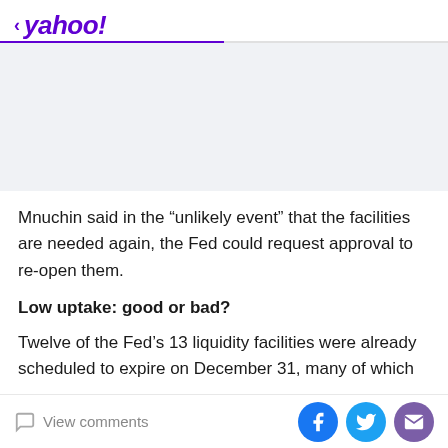< yahoo!
[Figure (other): Advertisement placeholder area with light gray background]
Mnuchin said in the “unlikely event” that the facilities are needed again, the Fed could request approval to re-open them.
Low uptake: good or bad?
Twelve of the Fed’s 13 liquidity facilities were already scheduled to expire on December 31, many of which
View comments